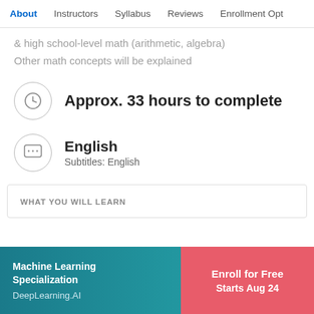About   Instructors   Syllabus   Reviews   Enrollment Opt
& high school-level math (arithmetic, algebra)
Other math concepts will be explained
Approx. 33 hours to complete
English
Subtitles: English
WHAT YOU WILL LEARN
Machine Learning Specialization
DeepLearning.AI
Enroll for Free
Starts Aug 24